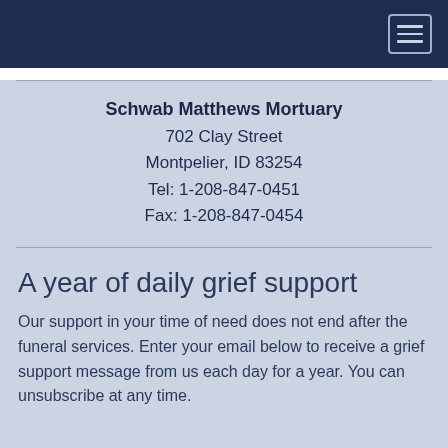Schwab Matthews Mortuary
702 Clay Street
Montpelier, ID 83254
Tel: 1-208-847-0451
Fax: 1-208-847-0454
A year of daily grief support
Our support in your time of need does not end after the funeral services. Enter your email below to receive a grief support message from us each day for a year. You can unsubscribe at any time.